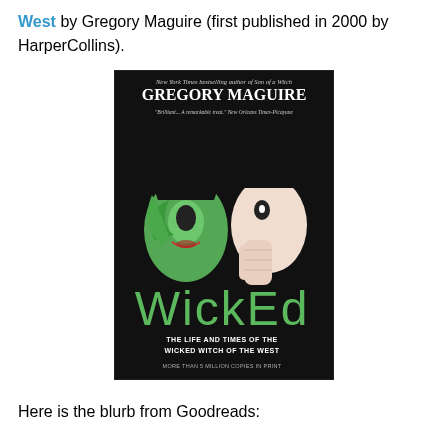West by Gregory Maguire (first published in 2000 by HarperCollins).
[Figure (photo): Book cover of 'Wicked: The Life and Times of the Wicked Witch of the West' by Gregory Maguire. Black background with green-faced witch figures. Title 'WICKED' in large green letters. Subtitle: 'THE LIFE AND TIMES OF THE WICKED WITCH OF THE WEST'. Bottom text: 'MORE THAN 5 MILLION COPIES IN PRINT'.]
Here is the blurb from Goodreads: